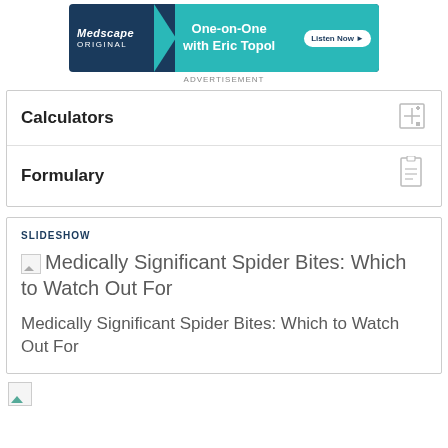[Figure (other): Medscape Original advertisement banner: One-on-One with Eric Topol, Listen Now button]
ADVERTISEMENT
Calculators
Formulary
SLIDESHOW
Medically Significant Spider Bites: Which to Watch Out For
Medically Significant Spider Bites: Which to Watch Out For
[Figure (other): Broken image placeholder at bottom left]